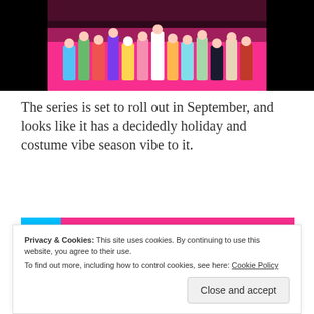[Figure (photo): LEGO minifigures holiday/costume collection displayed against a pink background with black sides. Multiple colorful LEGO minifigures including holiday-themed characters, a snowman, robot, and various costumes.]
The series is set to roll out in September, and looks like it has a decidedly holiday and costume vibe season vibe to it.
[Figure (photo): Partial image of LEGO sets/minifigures on a pink background with a cyan/blue square in the upper left corner.]
Privacy & Cookies: This site uses cookies. By continuing to use this website, you agree to their use.
To find out more, including how to control cookies, see here: Cookie Policy
Close and accept